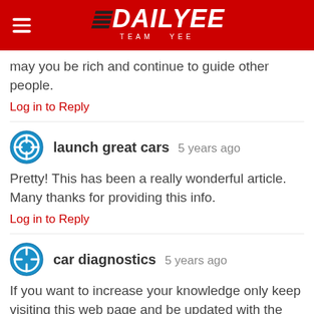[Figure (logo): Dailyee - Team Yee logo on red background with hamburger menu icon]
may you be rich and continue to guide other people.
Log in to Reply
launch great cars  5 years ago
Pretty! This has been a really wonderful article. Many thanks for providing this info.
Log in to Reply
car diagnostics  5 years ago
If you want to increase your knowledge only keep visiting this web page and be updated with the most up-to-date news posted here.
Log in to Reply